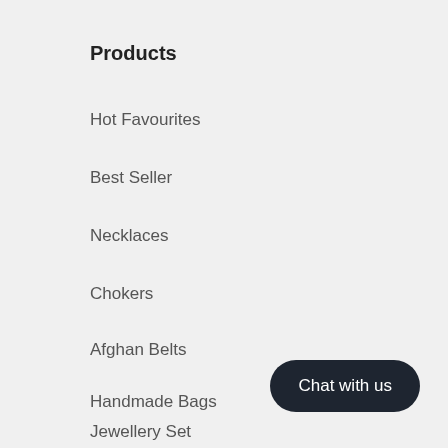Products
Hot Favourites
Best Seller
Necklaces
Chokers
Afghan Belts
Handmade Bags
Jewellery Set
Chat with us